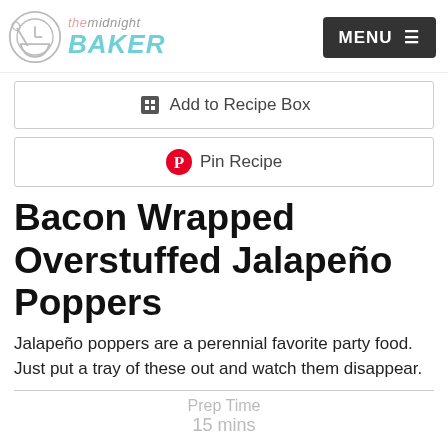The Midnight Baker — MENU
[Figure (screenshot): Add to Recipe Box button with recipe box icon]
[Figure (screenshot): Pin Recipe button with Pinterest logo]
Bacon Wrapped Overstuffed Jalapeño Poppers
Jalapeño poppers are a perennial favorite party food. Just put a tray of these out and watch them disappear.
Prep Time
15 mins